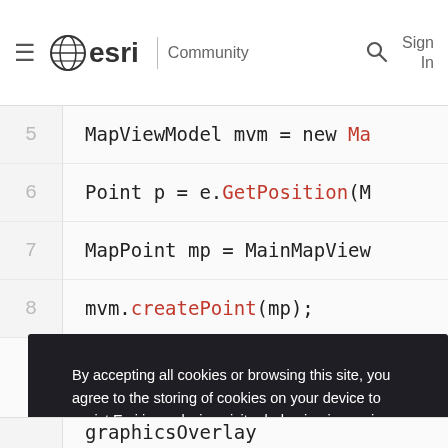esri | Community   [search icon]   Sign In
[Figure (screenshot): Code editor showing lines 5-8 with C# code: line 5: MapViewModel mvm = new Ma[...]  line 6: Point p = e.GetPosition(M[...] line 7: MapPoint mp = MainMapView[...] line 8: mvm.createPoint(mp);]
By accepting all cookies or browsing this site, you agree to the storing of cookies on your device to assist Esri in analyzing visitor behavior, improving your experience, and delivering tailored advertising on and off our sites. Manage cookies here or at the bottom of any page.
Accept All Cookies
Cookies Settings